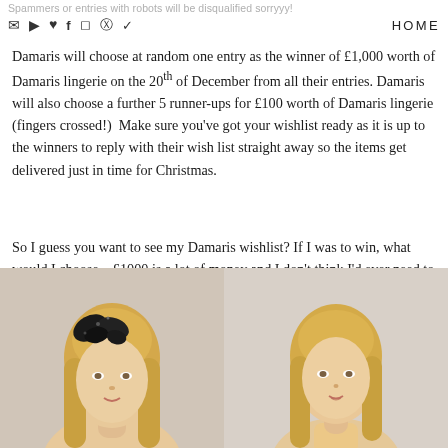Spammers or entries with robots will be disqualified sorryyy!
HOME (nav icons: email, youtube, heart, facebook, instagram, pinterest, twitter)
Damaris will choose at random one entry as the winner of £1,000 worth of Damaris lingerie on the 20th of December from all their entries. Damaris will also choose a further 5 runner-ups for £100 worth of Damaris lingerie (fingers crossed!)  Make sure you've got your wishlist ready as it is up to the winners to reply with their wish list straight away so the items get delivered just in time for Christmas.
So I guess you want to see my Damaris wishlist? If I was to win, what would I choose... £1000 is a lot of money and I don't think I'd ever need to buy lingerie again if I won...
[Figure (photo): Two blonde female models side by side. Left model wears a black butterfly/floral headpiece. Right model faces forward with a neutral expression. Both appear to be lingerie models with light background.]